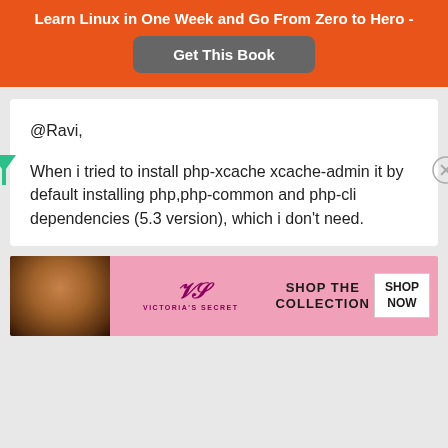Learn Linux in One Week and Go From Zero to Hero -
[Figure (other): Orange button labeled 'Get This Book']
@Ravi,

When i tried to install php-xcache xcache-admin it by default installing php,php-common and php-cli dependencies (5.3 version), which i don't need.
[Figure (other): Victoria's Secret advertisement banner with model photo, VS logo, 'SHOP THE COLLECTION' text, and 'SHOP NOW' button]